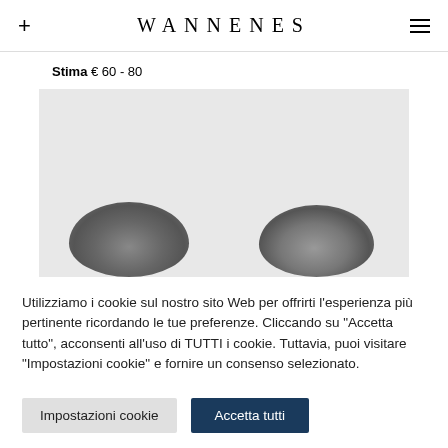WANNENES
Stima € 60 - 80
[Figure (photo): Two ancient coins partially visible against a light grey background, shown from above with detailed relief surfaces.]
Utilizziamo i cookie sul nostro sito Web per offrirti l'esperienza più pertinente ricordando le tue preferenze. Cliccando su "Accetta tutto", acconsenti all'uso di TUTTI i cookie. Tuttavia, puoi visitare "Impostazioni cookie" e fornire un consenso selezionato.
Impostazioni cookie  |  Accetta tutti